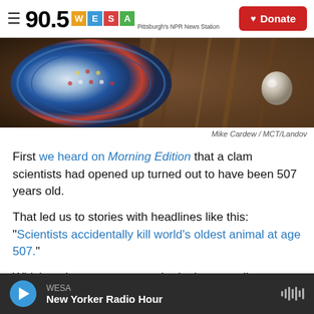90.5 WESA Pittsburgh's NPR News Station | Donate
[Figure (photo): Close-up photograph of a decorative beaded object with blue and red patterns, alongside rope or cord, on a brown background]
Mike Cardew / MCT/Landov
First we heard on Morning Edition that a clam scientists had opened up turned out to have been 507 years old.
That led us to stories with headlines like this: "Scientists accidentally kill world's oldest animal at age 507."
Which took us to a more authoritative-sounding
WESA | New Yorker Radio Hour